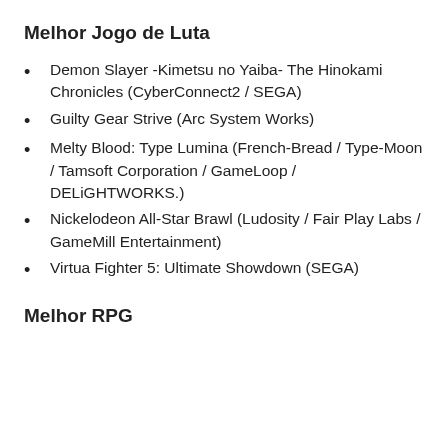Melhor Jogo de Luta
Demon Slayer -Kimetsu no Yaiba- The Hinokami Chronicles (CyberConnect2 / SEGA)
Guilty Gear Strive (Arc System Works)
Melty Blood: Type Lumina (French-Bread / Type-Moon / Tamsoft Corporation / GameLoop / DELiGHTWORKS.)
Nickelodeon All-Star Brawl (Ludosity / Fair Play Labs / GameMill Entertainment)
Virtua Fighter 5: Ultimate Showdown (SEGA)
Melhor RPG